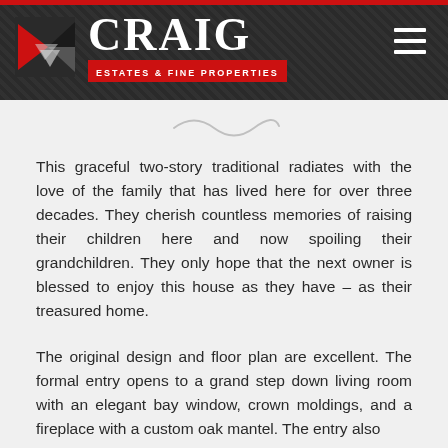[Figure (logo): Craig Estates & Fine Properties logo with red geometric icon on dark background header with hamburger menu]
[Figure (illustration): Decorative swirl/flourish divider in light gray]
This graceful two-story traditional radiates with the love of the family that has lived here for over three decades. They cherish countless memories of raising their children here and now spoiling their grandchildren. They only hope that the next owner is blessed to enjoy this house as they have – as their treasured home.
The original design and floor plan are excellent. The formal entry opens to a grand step down living room with an elegant bay window, crown moldings, and a fireplace with a custom oak mantel. The entry also